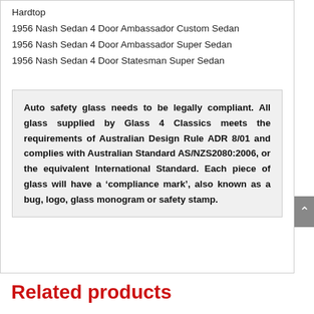Hardtop
1956 Nash Sedan 4 Door Ambassador Custom Sedan
1956 Nash Sedan 4 Door Ambassador Super Sedan
1956 Nash Sedan 4 Door Statesman Super Sedan
Auto safety glass needs to be legally compliant. All glass supplied by Glass 4 Classics meets the requirements of Australian Design Rule ADR 8/01 and complies with Australian Standard AS/NZS2080:2006, or the equivalent International Standard. Each piece of glass will have a ‘compliance mark’, also known as a bug, logo, glass monogram or safety stamp.
Related products